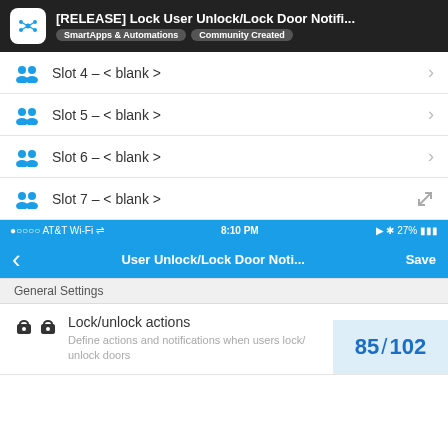[RELEASE] Lock User Unlock/Lock Door Notifi... | SmartApps & Automations | Community Created
Slot 4 - < blank >
Slot 5 - < blank >
Slot 6 - < blank >
Slot 7 - < blank >
•oooo AT&T Wi-Fi  8:10 PM  27%
User Unlock/Lock Door Noti... Save
General Settings
Lock/unlock actions
Define actions and notifications when users lock/unlock doors
85 / 102